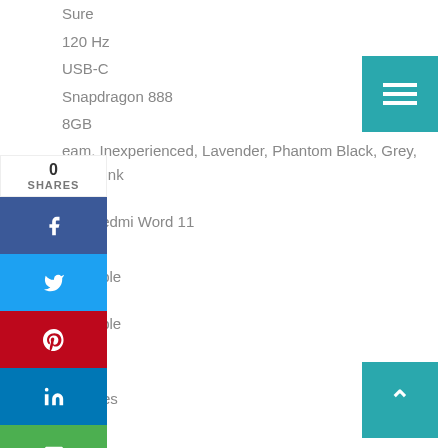Sure
120 Hz
USB-C
Snapdragon 888
8GB
eam, Inexperienced, Lavender, Phantom Black, Grey, hite, Pink
omi Redmi Word 11
99.99
available
available
omi
3 inches
64GB
50/8/2/2MP
13MP
[Figure (infographic): Social share sidebar with 0 SHARES counter, and buttons for Facebook, Twitter, Pinterest, LinkedIn, Email, and Print]
[Figure (infographic): Teal hamburger menu button in top right]
[Figure (infographic): Teal up-arrow scroll-to-top button in bottom right]